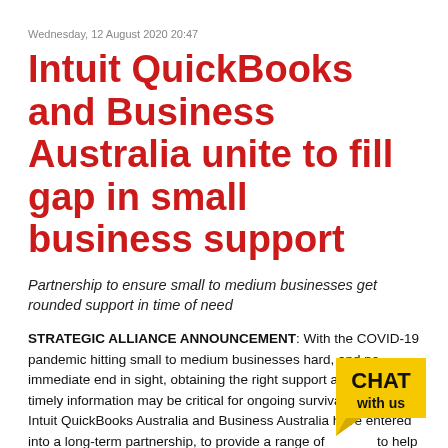Wednesday, 12 August 2020 20:47
Intuit QuickBooks and Business Australia unite to fill gap in small business support
Partnership to ensure small to medium businesses get rounded support in time of need
STRATEGIC ALLIANCE ANNOUNCEMENT: With the COVID-19 pandemic hitting small to medium businesses hard, and no immediate end in sight, obtaining the right support and getting timely information may be critical for ongoing survival. That's why Intuit QuickBooks Australia and Business Australia have entered into a long-term partnership, to provide a range of services to help businesses get through these uncertain times.
[Figure (logo): Yellow speech bubble chat widget with text CHAT with us in bold black]